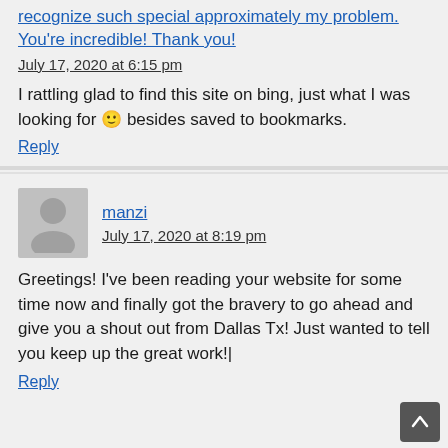recognize such special approximately my problem. You're incredible! Thank you!
July 17, 2020 at 6:15 pm
I rattling glad to find this site on bing, just what I was looking for 🙂 besides saved to bookmarks.
Reply
manzi
July 17, 2020 at 8:19 pm
Greetings! I've been reading your website for some time now and finally got the bravery to go ahead and give you a shout out from Dallas Tx! Just wanted to tell you keep up the great work!|
Reply